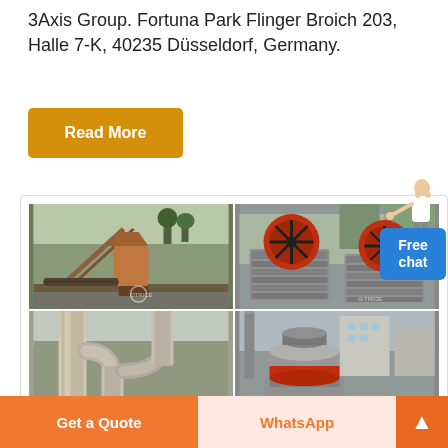3Axis Group. Fortuna Park Flinger Broich 203, Halle 7-K, 40235 Düsseldorf, Germany.
Read More
[Figure (photo): Grid of four industrial machinery photos: top-left shows a mining/crushing plant with conveyor belts and machinery; top-right shows red flywheel jaw crushers; bottom-left shows industrial pipes/cyclone dust collectors; bottom-right shows a cone crusher machine.]
Free chat
Get a Quote
WhatsApp